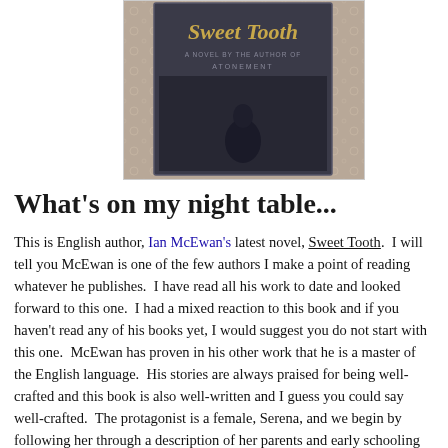[Figure (photo): Photo of the book 'Sweet Tooth' by Ian McEwan, described as 'A Novel by the Author of Atonement', placed on a lace doily surface. The book cover is dark/grey toned.]
What's on my night table...
This is English author, Ian McEwan's latest novel, Sweet Tooth.  I will tell you McEwan is one of the few authors I make a point of reading whatever he publishes.  I have read all his work to date and looked forward to this one.  I had a mixed reaction to this book and if you haven't read any of his books yet, I would suggest you do not start with this one.  McEwan has proven in his other work that he is a master of the English language.  His stories are always praised for being well-crafted and this book is also well-written and I guess you could say well-crafted.  The protagonist is a female, Serena, and we begin by following her through a description of her parents and early schooling and to the